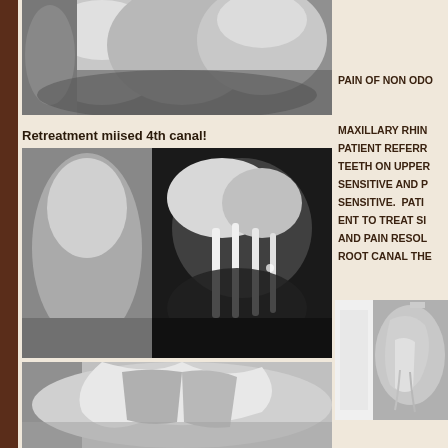[Figure (photo): Dental X-ray image showing teeth, upper portion cropped, grayscale radiograph]
Retreatment miised 4th canal!
[Figure (photo): Dental X-ray radiograph showing molar tooth with root canal, retreatment case showing missed 4th canal]
[Figure (photo): Dental X-ray radiograph, lower portion showing tooth roots, partial crop]
PAIN OF NON ODO
MAXILLARY RHIN PATIENT REFERR TEETH ON UPPER SENSITIVE AND P SENSITIVE. PATI ENT TO TREAT SI AND PAIN RESOL ROOT CANAL THE
[Figure (photo): Dental X-ray showing tooth roots, partial image on right side of page]